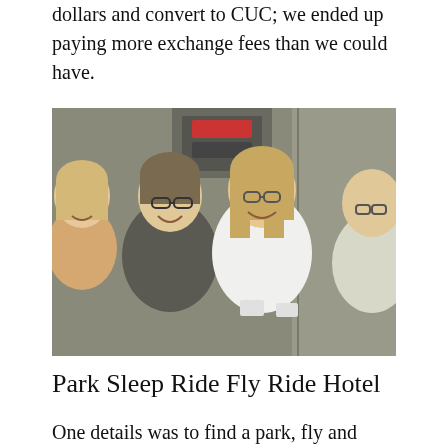dollars and convert to CUC; we ended up paying more exchange fees than we could have.
[Figure (photo): Four people smiling together, appearing to take a selfie in an elevator or similar enclosed space. Three women and one man, casually dressed.]
Park Sleep Ride Fly Ride Hotel
One details was to find a park, fly and sleep hotel